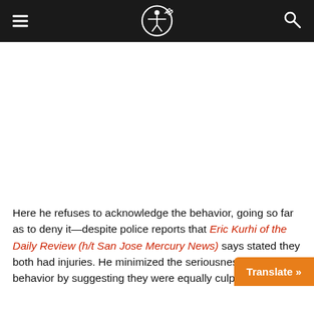[Navigation header with logo, hamburger menu, and search icon]
Here he refuses to acknowledge the behavior, going so far as to deny it—despite police reports that Eric Kurhi of the Daily Review (h/t San Jose Mercury News) says stated they both had injuries. He minimized the seriousness of his behavior by suggesting they were equally culpable in th…